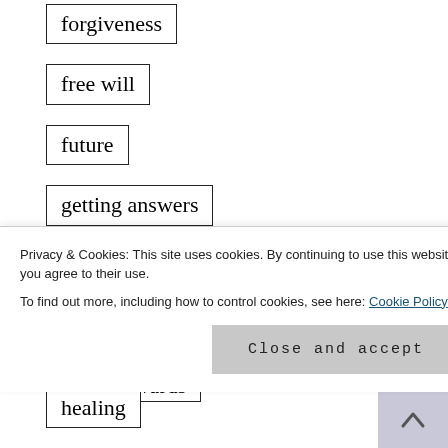forgiveness
free will
future
getting answers
goals
god
going inwards
Privacy & Cookies: This site uses cookies. By continuing to use this website, you agree to their use.
To find out more, including how to control cookies, see here: Cookie Policy
healing